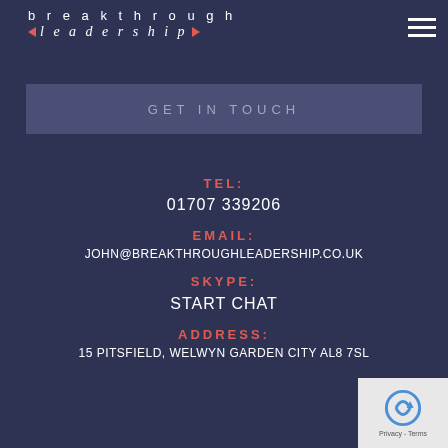[Figure (logo): Breakthrough Leadership logo with triangular arrows in red/coral and text in white]
[Figure (other): Hamburger menu icon (three horizontal white lines)]
GET IN TOUCH
TEL:
01707 339206
EMAIL:
JOHN@BREAKTHROUGHLEADERSHIP.CO.UK
SKYPE:
START CHAT
ADDRESS:
15 PITSFIELD, WELWYN GARDEN CITY AL8 7SL